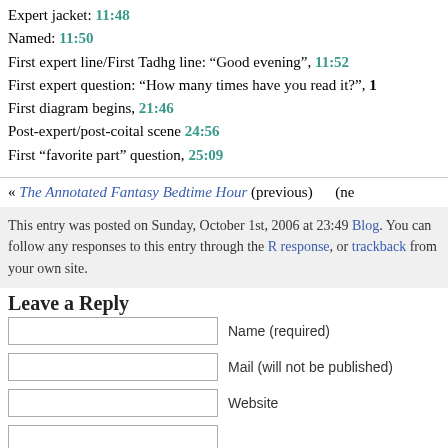Expert jacket: 11:48
Named: 11:50
First expert line/First Tadhg line: “Good evening”, 11:52
First expert question: “How many times have you read it?”, 1
First diagram begins, 21:46
Post-expert/post-coital scene 24:56
First “favorite part” question, 25:09
« The Annotated Fantasy Bedtime Hour (previous) (ne
This entry was posted on Sunday, October 1st, 2006 at 23:49 Blog. You can follow any responses to this entry through the R response, or trackback from your own site.
Leave a Reply